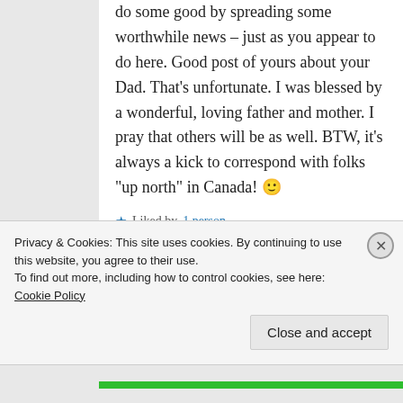do some good by spreading some worthwhile news – just as you appear to do here. Good post of yours about your Dad. That's unfortunate. I was blessed by a wonderful, loving father and mother. I pray that others will be as well. BTW, it's always a kick to correspond with folks "up north" in Canada! 🙂
★ Liked by 1 person
Reply
Privacy & Cookies: This site uses cookies. By continuing to use this website, you agree to their use. To find out more, including how to control cookies, see here: Cookie Policy
Close and accept